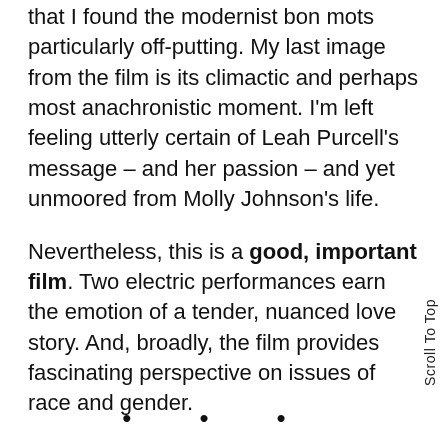that I found the modernist bon mots particularly off-putting. My last image from the film is its climactic and perhaps most anachronistic moment. I'm left feeling utterly certain of Leah Purcell's message – and her passion – and yet unmoored from Molly Johnson's life.
Nevertheless, this is a good, important film. Two electric performances earn the emotion of a tender, nuanced love story. And, broadly, the film provides fascinating perspective on issues of race and gender.
Scroll To Top